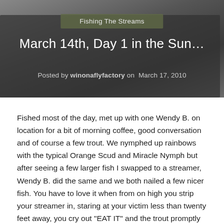[Figure (photo): Hero image background showing a dark outdoor scene, partially visible at top of page]
Fishing The Streams
March 14th, Day 1 in the Sun…
Posted by winonaflyfactory on  March 17, 2010
Fished most of the day, met up with one Wendy B. on location for a bit of morning coffee, good conversation and of course a few trout. We nymphed up rainbows with the typical Orange Scud and Miracle Nymph but after seeing a few larger fish I swapped to a streamer, Wendy B. did the same and we both nailed a few nicer fish. You have to love it when from on high you strip your streamer in, staring at your victim less than twenty feet away, you cry out "EAT IT" and the trout promptly turns and does exactly that, brilliant. Wendy B.- FISH ON![singlepic id=1379 w=320 h=240 float=right]That was just the start to an awesome day, I mean by 11am I had enough good things to say about it and the day wasn't even half the